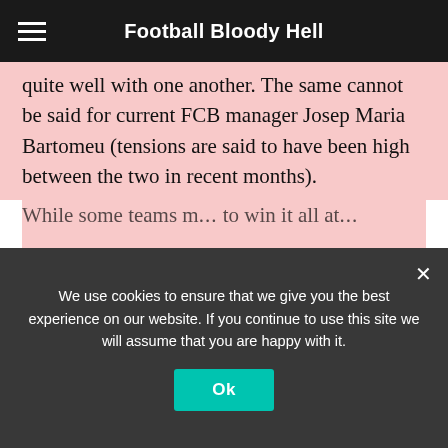Football Bloody Hell
quite well with one another. The same cannot be said for current FCB manager Josep Maria Bartomeu (tensions are said to have been high between the two in recent months).
Furthermore, this appears to be much more than a rumour. It has been leaked that Messi and Guardiola have spoken; a clear indicator that both are looking to move forward in some way, shape or form. This was confirmed by Guardiola when he stated that he would be elated to have Messi as part of Man City.
While some teams m... to win it all at...
We use cookies to ensure that we give you the best experience on our website. If you continue to use this site we will assume that you are happy with it.